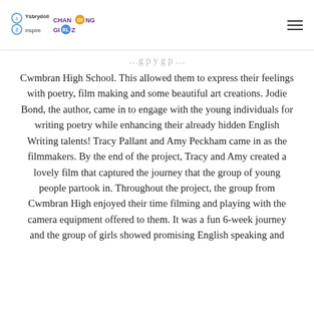Ysbrydoli inspire / Changing Girlz — navigation header
Cwmbran High School. This allowed them to express their feelings with poetry, film making and some beautiful art creations. Jodie Bond, the author, came in to engage with the young individuals for writing poetry while enhancing their already hidden English Writing talents! Tracy Pallant and Amy Peckham came in as the filmmakers. By the end of the project, Tracy and Amy created a lovely film that captured the journey that the group of young people partook in. Throughout the project, the group from Cwmbran High enjoyed their time filming and playing with the camera equipment offered to them. It was a fun 6-week journey and the group of girls showed promising English speaking and